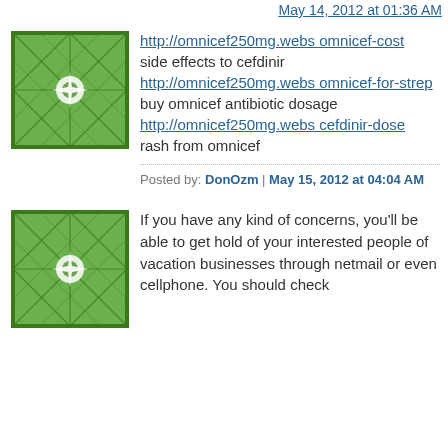May 14, 2012 at 01:36 AM
[Figure (illustration): Green geometric avatar/icon with starburst pattern]
http://omnicef250mg.webs omnicef-cost
side effects to cefdinir
http://omnicef250mg.webs omnicef-for-strep
buy omnicef antibiotic dosage
http://omnicef250mg.webs cefdinir-dose
rash from omnicef
Posted by: DonOzm | May 15, 2012 at 04:04 AM
[Figure (illustration): Green geometric avatar/icon with starburst pattern]
If you have any kind of concerns, you'll be able to get hold of your interested people of vacation businesses through netmail or even cellphone. You should check